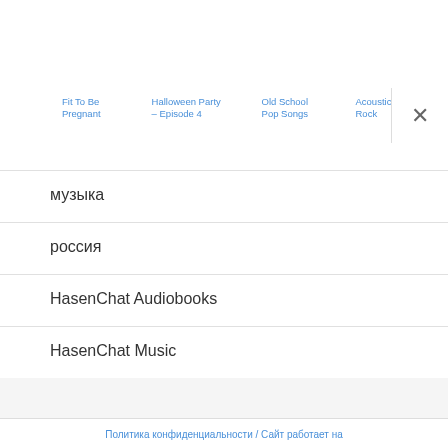[Figure (screenshot): Top navigation bar area with white background]
Fit To Be Pregnant
Halloween Party - Episode 4
Old School Pop Songs
Acoustic Rock
музыка
россия
HasenChat Audiobooks
HasenChat Music
Политика конфиденциальности / Сайт работает на